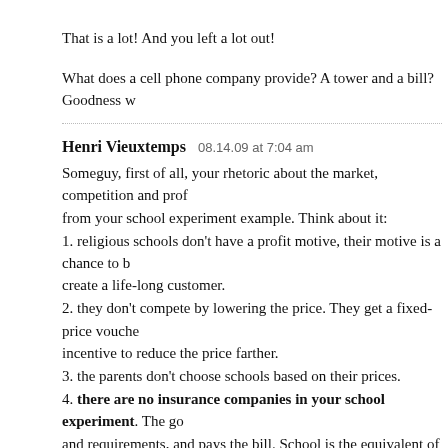That is a lot! And you left a lot out!
What does a cell phone company provide? A tower and a bill? Goodness w
Henri Vieuxtemps  08.14.09 at 7:04 am
Someguy, first of all, your rhetoric about the market, competition and prof from your school experiment example. Think about it:
1. religious schools don’t have a profit motive, their motive is a chance to b create a life-long customer.
2. they don’t compete by lowering the price. They get a fixed-price vouche incentive to reduce the price farther.
3. the parents don’t choose schools based on their prices.
4. there are no insurance companies in your school experiment. The go and requirements, and pays the bill. School is the equivalent of a hospital,
If you like this model, you should love Canadian healthcare model.
A cell phone company is a huge rip off, that’s true, very much so. But at le